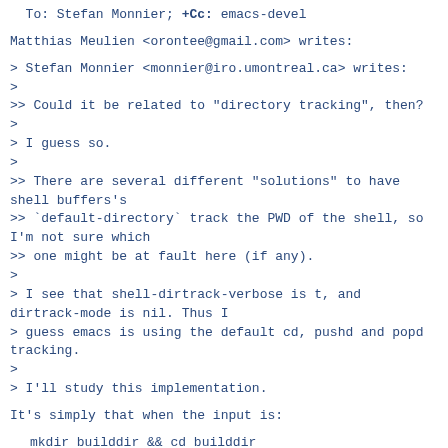To: Stefan Monnier; +Cc: emacs-devel
Matthias Meulien <orontee@gmail.com> writes:
> Stefan Monnier <monnier@iro.umontreal.ca> writes:
>
>> Could it be related to "directory tracking", then?
>
> I guess so.
>
>> There are several different "solutions" to have shell buffers's
>> `default-directory` track the PWD of the shell, so I'm not sure which
>> one might be at fault here (if any).
>
> I see that shell-dirtrack-verbose is t, and dirtrack-mode is nil. Thus I
> guess emacs is using the default cd, pushd and popd tracking.
>
> I'll study this implementation.
It's simply that when the input is:
mkdir builddir && cd builddir
the function shell-directory-tracker fails to see the cd command.